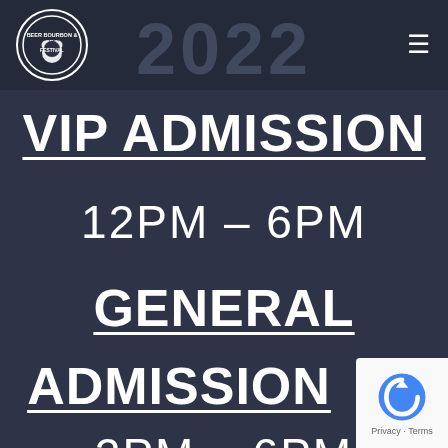Beer Bourbon & BBQ Festival logo; hamburger menu icon
2022
VIP ADMISSION
12PM – 6PM
GENERAL
ADMISSION
2PM – 6PM